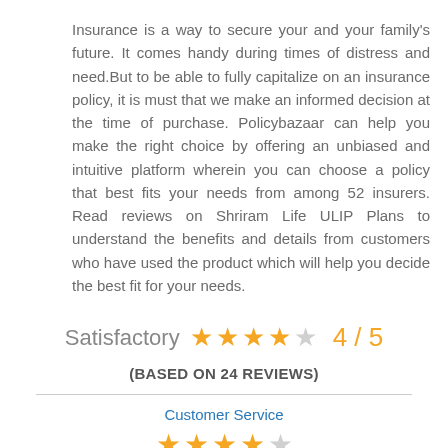Insurance is a way to secure your and your family's future. It comes handy during times of distress and need.But to be able to fully capitalize on an insurance policy, it is must that we make an informed decision at the time of purchase. Policybazaar can help you make the right choice by offering an unbiased and intuitive platform wherein you can choose a policy that best fits your needs from among 52 insurers. Read reviews on Shriram Life ULIP Plans to understand the benefits and details from customers who have used the product which will help you decide the best fit for your needs.
Satisfactory ★★★★☆ 4 / 5
(BASED ON 24 REVIEWS)
Customer Service
[Figure (other): 4 out of 5 stars rating for Customer Service]
Policy Benefits
[Figure (other): 4 out of 5 stars rating for Policy Benefits (partially visible)]